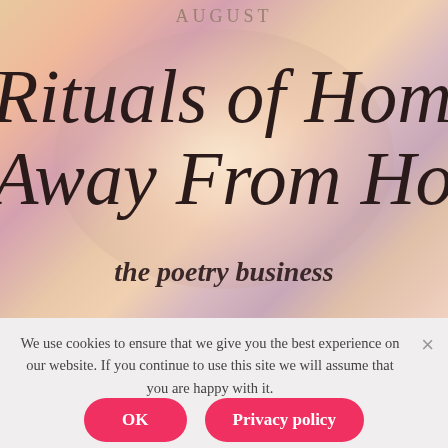[Figure (photo): Book cover image with blurred warm pink/orange/gold abstract background. Shows text 'AUGUST' at top, large italic title 'Rituals of Home, Away From Home' and 'the poetry business' at bottom.]
We use cookies to ensure that we give you the best experience on our website. If you continue to use this site we will assume that you are happy with it.
OK
Privacy policy